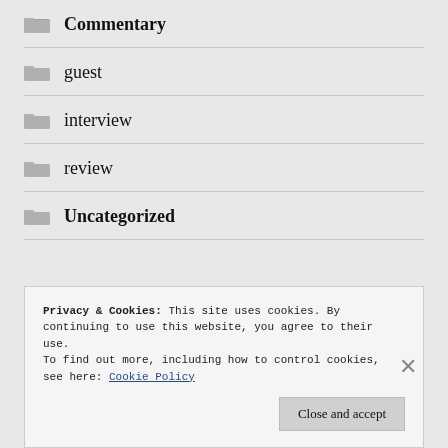Commentary
guest
interview
review
Uncategorized
Privacy & Cookies: This site uses cookies. By continuing to use this website, you agree to their use.
To find out more, including how to control cookies, see here: Cookie Policy
Close and accept